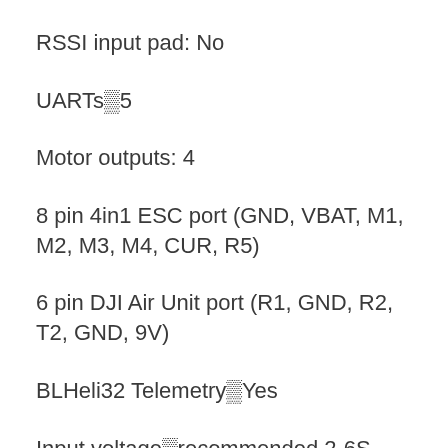RSSI input pad: No
UARTs▂5
Motor outputs: 4
8 pin 4in1 ESC port (GND, VBAT, M1, M2, M3, M4, CUR, R5)
6 pin DJI Air Unit port (R1, GND, R2, T2, GND, 9V)
BLHeli32 Telemetry▂Yes
Input voltage▂recommended 2-6S, MAX 6S
Firmware target: IFLIGHT_F722_TWING